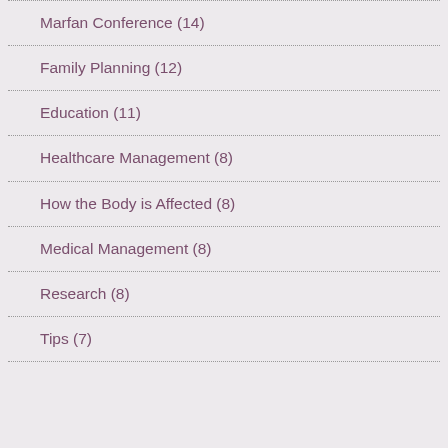Marfan Conference (14)
Family Planning (12)
Education (11)
Healthcare Management (8)
How the Body is Affected (8)
Medical Management (8)
Research (8)
Tips (7)